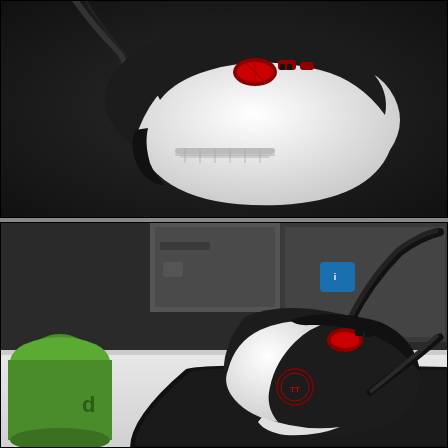[Figure (photo): Top-down view of a black and white gaming mouse with red scroll wheel and red side buttons, placed on a dark surface with cable visible at top]
[Figure (photo): Side/front view of the same black and white gaming mouse (Thermaltake brand) resting on a black Thermaltake mouse pad on a white desk, with a green object at left, and a computer monitor visible in the background]